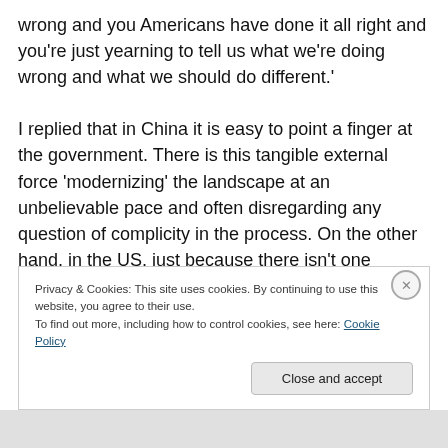wrong and you Americans have done it all right and you're just yearning to tell us what we're doing wrong and what we should do different.'

I replied that in China it is easy to point a finger at the government. There is this tangible external force 'modernizing' the landscape at an unbelievable pace and often disregarding any question of complicity in the process. On the other hand, in the US, just because there isn't one nefarious outer force steamrolling the landscape, the marketization of our social, political, and environmental
Privacy & Cookies: This site uses cookies. By continuing to use this website, you agree to their use.
To find out more, including how to control cookies, see here: Cookie Policy
Close and accept